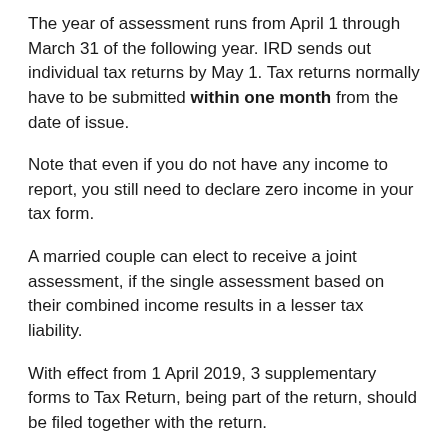The year of assessment runs from April 1 through March 31 of the following year. IRD sends out individual tax returns by May 1. Tax returns normally have to be submitted within one month from the date of issue.
Note that even if you do not have any income to report, you still need to declare zero income in your tax form.
A married couple can elect to receive a joint assessment, if the single assessment based on their combined income results in a lesser tax liability.
With effect from 1 April 2019, 3 supplementary forms to Tax Return, being part of the return, should be filed together with the return.
If you are a sole-proprietor of a business, you can file the returns within 2 months from the date of